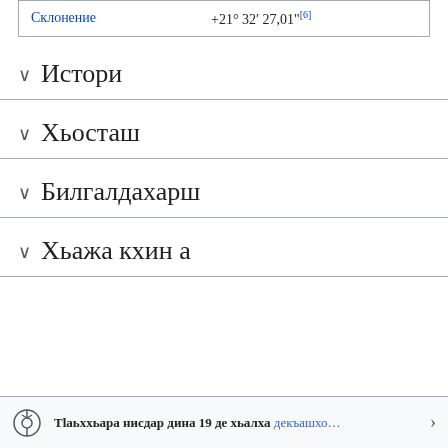| Склонение | +21° 32′ 27,01"[6] |
Истори
Хьосташ
Билгалдахарш
Хьажа кхин а
Тlаьххьара нисдар дина 19 де хьалха декъашхо…